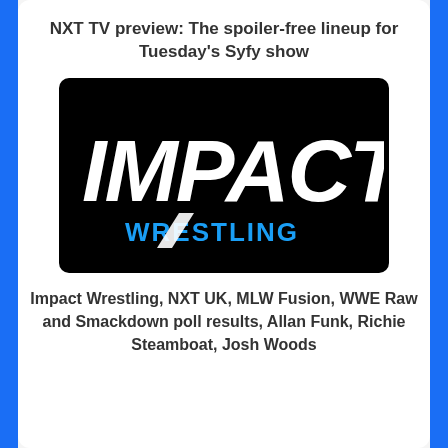NXT TV preview: The spoiler-free lineup for Tuesday's Syfy show
[Figure (logo): IMPACT! Wrestling logo — white bold italic text 'IMPACT!' on black background, with 'WRESTLING' in blue below]
Impact Wrestling, NXT UK, MLW Fusion, WWE Raw and Smackdown poll results, Allan Funk, Richie Steamboat, Josh Woods